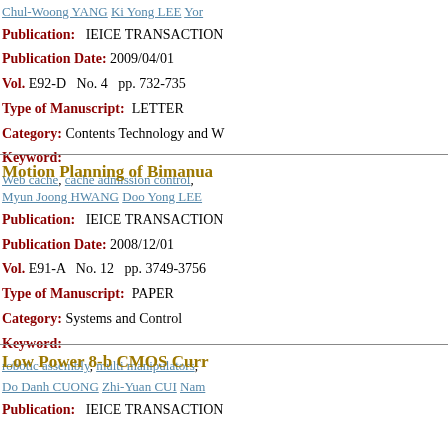Chul-Woong YANG  Ki Yong LEE  Yo...
Publication:   IEICE TRANSACTION...
Publication Date: 2009/04/01
Vol. E92-D  No. 4  pp. 732-735
Type of Manuscript:  LETTER
Category:  Contents Technology and W...
Keyword:
Web cache,  cache admission control,  ...
Motion Planning of Bimanua...
Myun Joong HWANG  Doo Yong LEE  ...
Publication:   IEICE TRANSACTION...
Publication Date: 2008/12/01
Vol. E91-A  No. 12  pp. 3749-3756
Type of Manuscript:  PAPER
Category:  Systems and Control
Keyword:
robotic assembly,  multi manipulators,  ...
Low Power 8-b CMOS Curr...
Do Danh CUONG  Zhi-Yuan CUI  Nam...
Publication:   IEICE TRANSACTION...